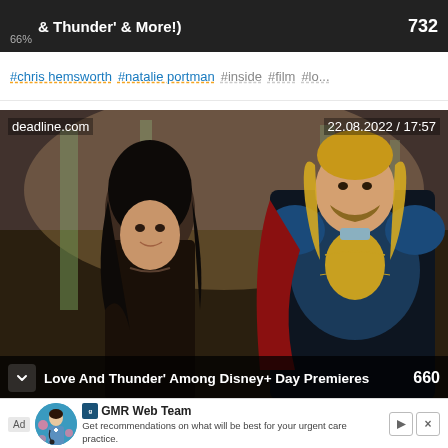& Thunder' & More!) 732
#chris hemsworth #natalie portman #inside #film #lo...
[Figure (photo): Screenshot from deadline.com dated 22.08.2022 / 17:57 showing two characters — a woman on the left and Thor (Chris Hemsworth) on the right in costume — from Thor: Love and Thunder film]
Love And Thunder' Among Disney+ Day Premieres  660
Ad  GMR Web Team  Get recommendations on what will be best for your urgent care practice.  CONTACT US